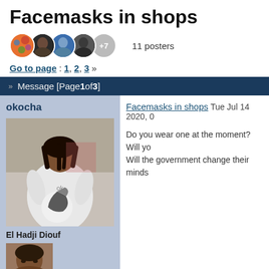Facemasks in shops
11 posters
Go to page : 1, 2, 3 »
Message [Page 1 of 3]
okocha
[Figure (photo): Soccer player holding a ball, wearing white jersey]
El Hadji Diouf
[Figure (photo): Close-up portrait of a man's face]
Posts : 2411
Join date : 2013-09-01
Facemasks in shops Tue Jul 14 2020, 0
Do you wear one at the moment? Will yo
Will the government change their minds